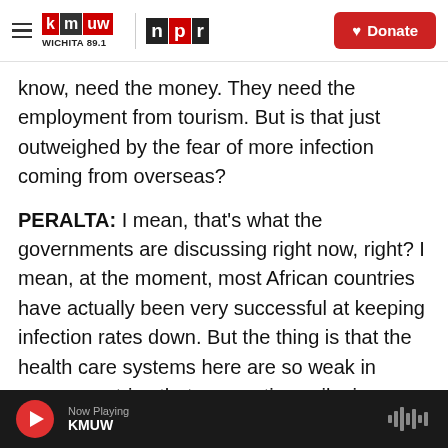kmuw WICHITA 89.1 | npr | Donate
know, need the money. They need the employment from tourism. But is that just outweighed by the fear of more infection coming from overseas?
PERALTA: I mean, that's what the governments are discussing right now, right? I mean, at the moment, most African countries have actually been very successful at keeping infection rates down. But the thing is that the health care systems here are so weak in many countries that even a tiny spike in infections could overwhelm them. I mean, here in Kenya, for example, hospitals are already reaching capacity. And we just crossed the 5,000-case mark
Now Playing KMUW